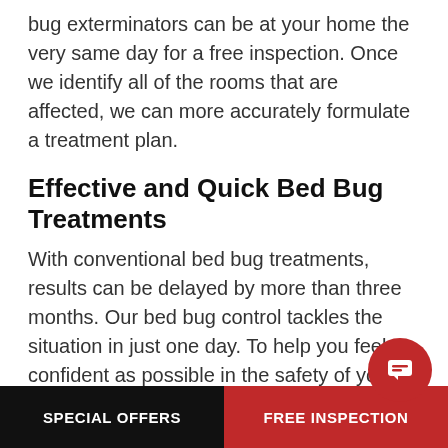bug exterminators can be at your home the very same day for a free inspection. Once we identify all of the rooms that are affected, we can more accurately formulate a treatment plan.
Effective and Quick Bed Bug Treatments
With conventional bed bug treatments, results can be delayed by more than three months. Our bed bug control tackles the situation in just one day. To help you feel as confident as possible in the safety of your home, we guarantee to stick by your side up to 6 months after our initial visit. If you notice any sign of these pests, we will happily re-service your home free of charge.
SPECIAL OFFERS   FREE INSPECTION